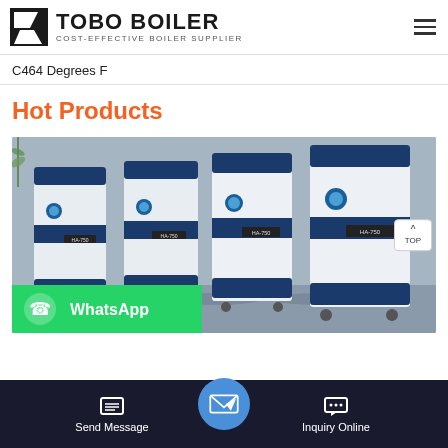TOBO BOILER - COST-EFFECTIVE BOILER SUPPLIER
C464 Degrees F
Hot Products
[Figure (photo): Three industrial boiler units (blue and white) with model labels HA-750 arranged in a row in an indoor/outdoor setting with a stone wall background. A WhatsApp button overlay is visible in the bottom left corner.]
Send Message | Inquiry Online